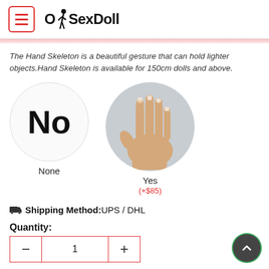OkSexDoll
The Hand Skeleton is a beautiful gesture that can hold lighter objects.Hand Skeleton is available for 150cm dolls and above.
[Figure (illustration): Two circular option buttons: left circle (white/light grey) shows large bold text 'No' with label 'None'; right circle (grey background) shows a realistic hand image with label 'Yes' and price '(+$85)']
Shipping Method:UPS / DHL
Quantity:
1